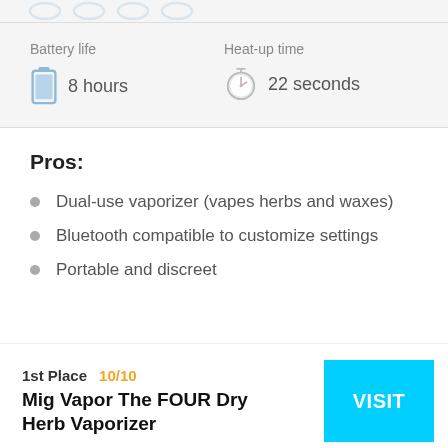[Figure (infographic): Partial icons visible at top of page (cropped)]
Battery life
8 hours
Heat-up time
22 seconds
Pros:
Dual-use vaporizer (vapes herbs and waxes)
Bluetooth compatible to customize settings
Portable and discreet
1st Place  10/10
Mig Vapor The FOUR Dry Herb Vaporizer
VISIT